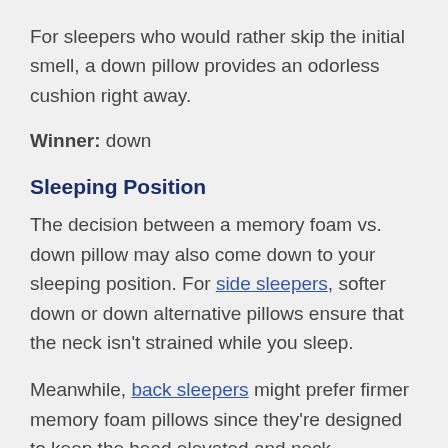For sleepers who would rather skip the initial smell, a down pillow provides an odorless cushion right away.
Winner: down
Sleeping Position
The decision between a memory foam vs. down pillow may also come down to your sleeping position. For side sleepers, softer down or down alternative pillows ensure that the neck isn't strained while you sleep.
Meanwhile, back sleepers might prefer firmer memory foam pillows since they're designed to keep the head elevated and neck supported overnight.